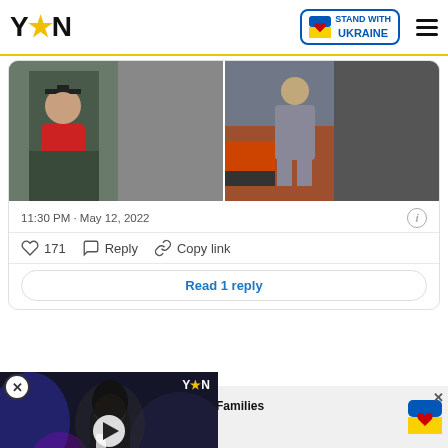YEN — Stand With Ukraine
[Figure (screenshot): Two photos side by side in a tweet: left shows a person in graduation cap and red jacket, right shows a person in grey suit sitting on orange seating]
11:30 PM · May 12, 2022
♡ 171   Reply   Copy link
Read 1 reply
[Figure (screenshot): Video thumbnail showing a woman with microphone at a night event, YEN logo top right, play button in center, red chevron button bottom right]
of the comments below:
[Figure (screenshot): Bottom ad banner with Ukrainian family photo, text 'Help Protect Ukrainian Families', blue DONATE NOW button, Ukraine heart flag icon, X close button]